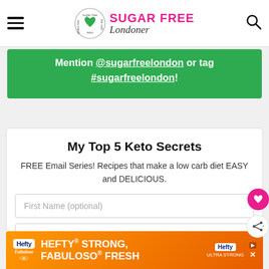Sugar Free Londoner — navigation header with hamburger menu, logo, and search icon
Mention @sugarfreelondon or tag #sugarfreelondon!
My Top 5 Keto Secrets
FREE Email Series! Recipes that make a low carb diet EASY and DELICIOUS.
First Name (optional)
Your Email...
[Figure (screenshot): Hefty + Fabuloso advertisement banner: HEFTY STRONG, FABULOSO FRESH]